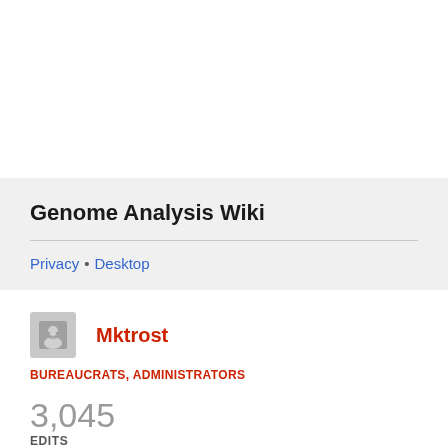Genome Analysis Wiki
Privacy • Desktop
Mktrost
BUREAUCRATS, ADMINISTRATORS
3,045 EDITS